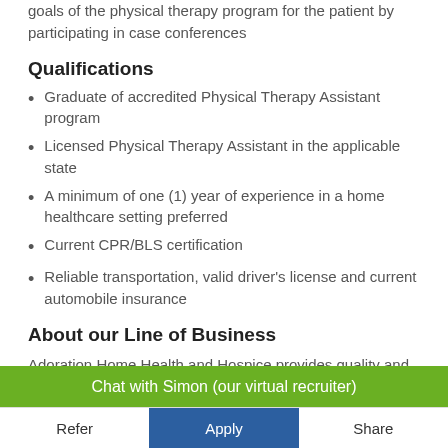goals of the physical therapy program for the patient by participating in case conferences
Qualifications
Graduate of accredited Physical Therapy Assistant program
Licensed Physical Therapy Assistant in the applicable state
A minimum of one (1) year of experience in a home healthcare setting preferred
Current CPR/BLS certification
Reliable transportation, valid driver's license and current automobile insurance
About our Line of Business
Adoration Home Health and Hospice provides quality and
Chat with Simon (our virtual recruiter)
Refer
Apply
Share